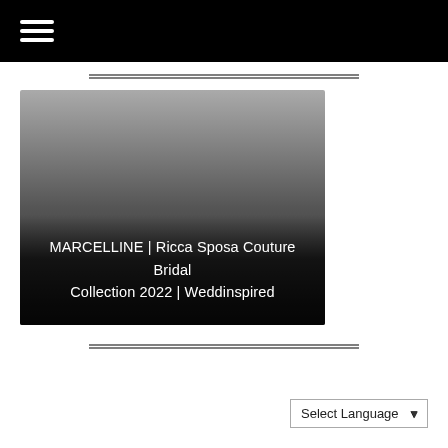☰
[Figure (photo): A fashion/bridal photograph showing a model in a wedding gown, partially visible. Dark gradient overlay at the bottom of the image with white text overlay.]
MARCELLINE | Ricca Sposa Couture Bridal Collection 2022 | Weddinspired
Select Language